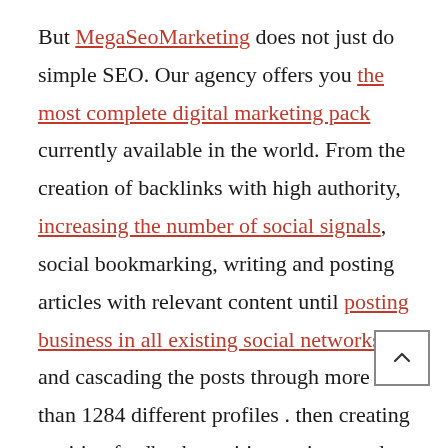But MegaSeoMarketing does not just do simple SEO. Our agency offers you the most complete digital marketing pack currently available in the world. From the creation of backlinks with high authority, increasing the number of social signals, social bookmarking, writing and posting articles with relevant content until posting business in all existing social networks and cascading the posts through more than 1284 different profiles . then creating positive feedback, positive reviews and reviews, creating and distributing recommendations, and more. All these digital